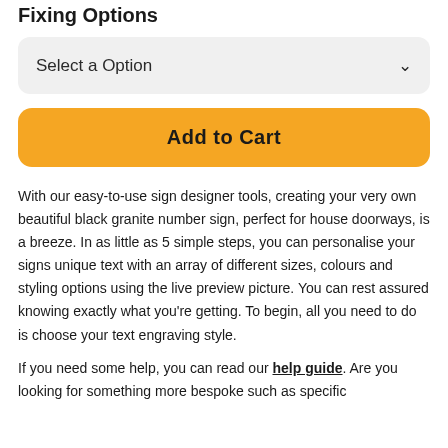Fixing Options
Select a Option
Add to Cart
With our easy-to-use sign designer tools, creating your very own beautiful black granite number sign, perfect for house doorways, is a breeze. In as little as 5 simple steps, you can personalise your signs unique text with an array of different sizes, colours and styling options using the live preview picture. You can rest assured knowing exactly what you're getting. To begin, all you need to do is choose your text engraving style.
If you need some help, you can read our help guide. Are you looking for something more bespoke such as specific